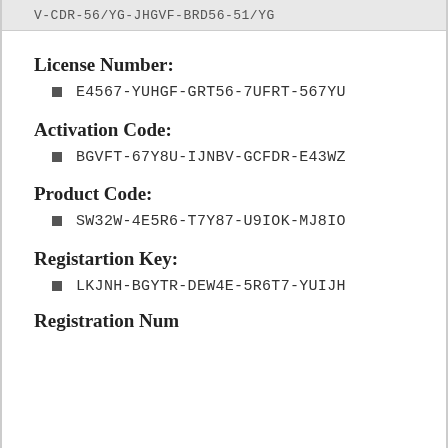V-CDR-56/YG-JHGVF-BRD56-51/YG
License Number:
E4567-YUHGF-GRT56-7UFRT-567YU
Activation Code:
BGVFT-67Y8U-IJNBV-GCFDR-E43WZ
Product Code:
SW32W-4E5R6-T7Y87-U9IOK-MJ8IO
Registartion Key:
LKJNH-BGYTR-DEW4E-5R6T7-YUIJH
Registration Number